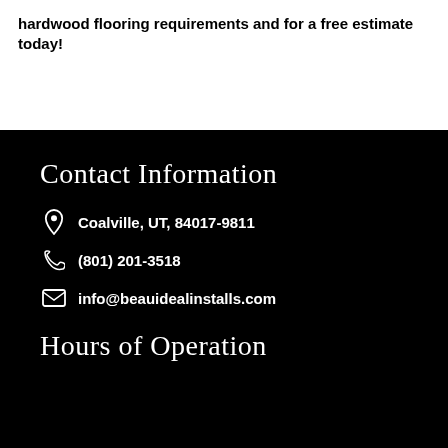hardwood flooring requirements and for a free estimate today!
Contact Information
Coalville, UT, 84017-9811
(801) 201-3518
info@beauidealinstalls.com
Hours of Operation